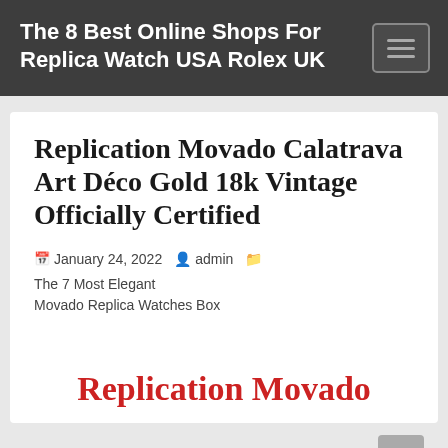The 8 Best Online Shops For Replica Watch USA Rolex UK
Replication Movado Calatrava Art Déco Gold 18k Vintage Officially Certified
January 24, 2022  admin  The 7 Most Elegant Movado Replica Watches Box
Replication Movado